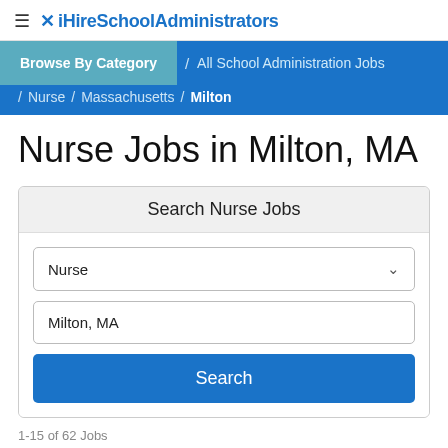≡ ✕ iHireSchoolAdministrators
Browse By Category / All School Administration Jobs / Nurse / Massachusetts / Milton
Nurse Jobs in Milton, MA
Search Nurse Jobs
Nurse
Milton, MA
Search
1-15 of 62 Jobs